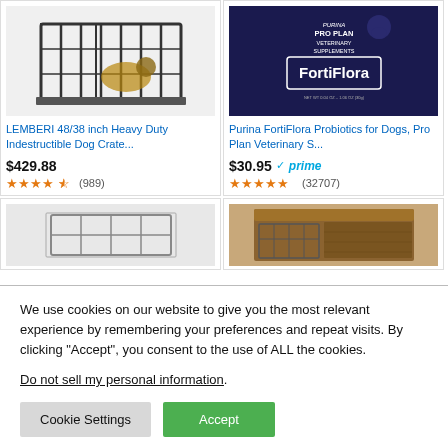[Figure (screenshot): Amazon product listing screenshot showing dog crates and pet products with prices, star ratings, and a cookie consent banner overlay]
LEMBERI 48/38 inch Heavy Duty Indestructible Dog Crate...
$429.88
(989)
Purina FortiFlora Probiotics for Dogs, Pro Plan Veterinary S...
$30.95 ✓prime
(32707)
We use cookies on our website to give you the most relevant experience by remembering your preferences and repeat visits. By clicking “Accept”, you consent to the use of ALL the cookies.
Do not sell my personal information.